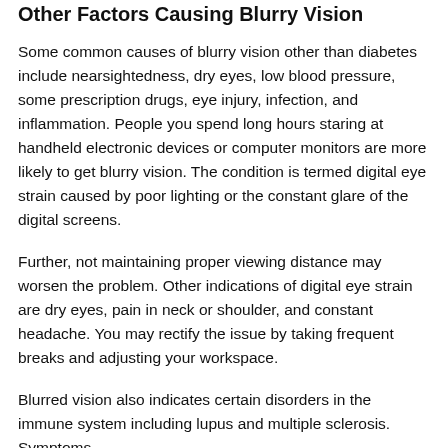Other Factors Causing Blurry Vision
Some common causes of blurry vision other than diabetes include nearsightedness, dry eyes, low blood pressure, some prescription drugs, eye injury, infection, and inflammation. People you spend long hours staring at handheld electronic devices or computer monitors are more likely to get blurry vision. The condition is termed digital eye strain caused by poor lighting or the constant glare of the digital screens.
Further, not maintaining proper viewing distance may worsen the problem. Other indications of digital eye strain are dry eyes, pain in neck or shoulder, and constant headache. You may rectify the issue by taking frequent breaks and adjusting your workspace.
Blurred vision also indicates certain disorders in the immune system including lupus and multiple sclerosis. Symptoms